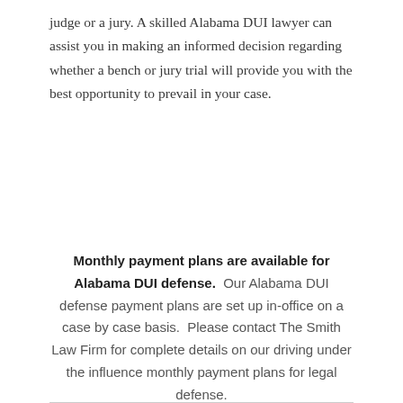judge or a jury. A skilled Alabama DUI lawyer can assist you in making an informed decision regarding whether a bench or jury trial will provide you with the best opportunity to prevail in your case.
Monthly payment plans are available for Alabama DUI defense. Our Alabama DUI defense payment plans are set up in-office on a case by case basis. Please contact The Smith Law Firm for complete details on our driving under the influence monthly payment plans for legal defense.